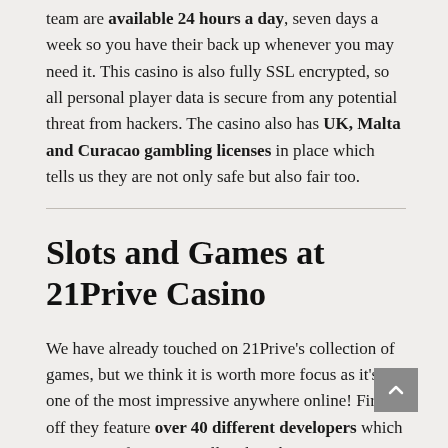team are available 24 hours a day, seven days a week so you have their back up whenever you may need it. This casino is also fully SSL encrypted, so all personal player data is secure from any potential threat from hackers. The casino also has UK, Malta and Curacao gambling licenses in place which tells us they are not only safe but also fair too.
Slots and Games at 21Prive Casino
We have already touched on 21Prive's collection of games, but we think it is worth more focus as it's one of the most impressive anywhere online! First off they feature over 40 different developers which is no mean feat. Especially when the site in no way feels overwhelming or crowded. Their designers have done an awesome job of making it as slick and user-friendly as possible no matter what device you happen to be playing on.